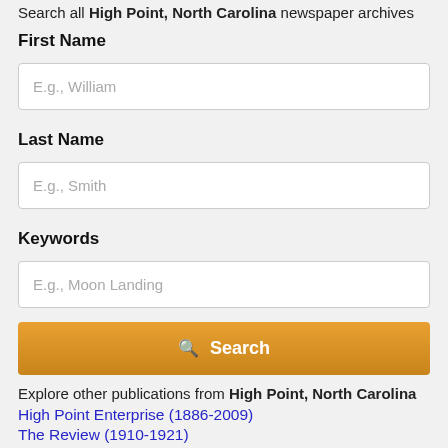Search all High Point, North Carolina newspaper archives
First Name
E.g., William
Last Name
E.g., Smith
Keywords
E.g., Moon Landing
Search
Explore other publications from High Point, North Carolina
High Point Enterprise (1886-2009)
The Review (1910-1921)
View All
Show less
All newspaper archives for February 18, 1940
Browse